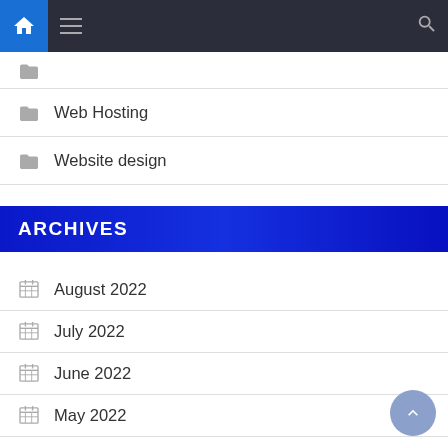Navigation bar with home, menu, and search icons
Web Hosting
Website design
ARCHIVES
August 2022
July 2022
June 2022
May 2022
April 2022